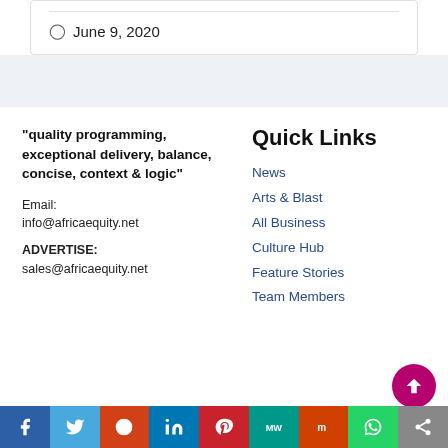June 9, 2020
"quality programming, exceptional delivery, balance, concise, context & logic"
Email: info@africaequity.net
ADVERTISE: sales@africaequity.net
Quick Links
News
Arts & Blast
All Business
Culture Hub
Feature Stories
Team Members
Social share bar: Facebook, Twitter, Reddit, LinkedIn, Pinterest, MeWe, Mix, WhatsApp, Share